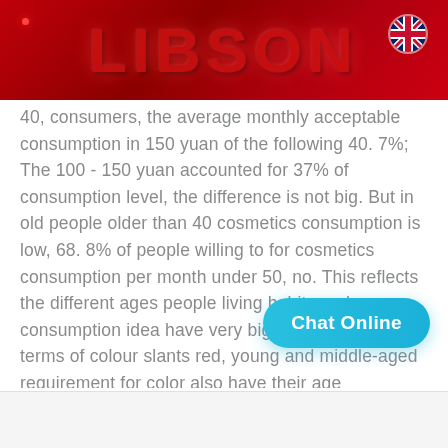LIBSON
40, consumers, the average monthly acceptable consumption in 150 yuan of the following 40. 7%; The 100 - 150 yuan accounted for 37% of consumption level, the difference is not big. But in old people older than 40 cosmetics consumption is low, 68. 8% of people willing to for cosmetics consumption per month under 50, no. This reflects the different ages people living habits and consumption idea have very big difference. In terms of colour slants red, young and middle-aged requirement for color also have their age characteristics. This part of the population generally favours neutral colors: purple and green. Because the blue, green wait for color, reminiscent of trees, grass and other plants, producing life, youth, and peaceful feeling. And purple reminiscen as flowers, crystal, easy generation and mysterious, noble
[Figure (other): Chat Online button overlay]